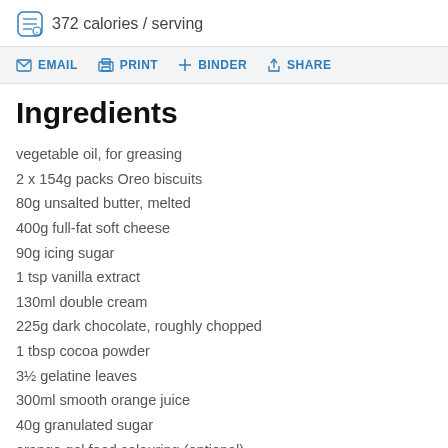372 calories / serving
EMAIL   PRINT   + BINDER   SHARE
Ingredients
vegetable oil, for greasing
2 x 154g packs Oreo biscuits
80g unsalted butter, melted
400g full-fat soft cheese
90g icing sugar
1 tsp vanilla extract
130ml double cream
225g dark chocolate, roughly chopped
1 tbsp cocoa powder
3½ gelatine leaves
300ml smooth orange juice
40g granulated sugar
orange gel food colouring (optional)